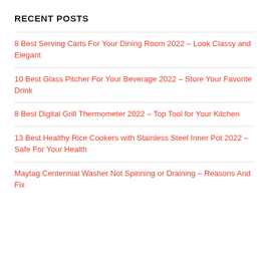RECENT POSTS
8 Best Serving Carts For Your Dining Room 2022 – Look Classy and Elegant
10 Best Glass Pitcher For Your Beverage 2022 – Store Your Favorite Drink
8 Best Digital Grill Thermometer 2022 – Top Tool for Your Kitchen
13 Best Healthy Rice Cookers with Stainless Steel Inner Pot 2022 – Safe For Your Health
Maytag Centennial Washer Not Spinning or Draining – Reasons And Fix